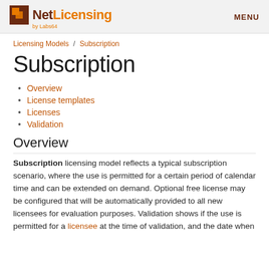NetLicensing by Labs64 | MENU
Licensing Models / Subscription
Subscription
Overview
License templates
Licenses
Validation
Overview
Subscription licensing model reflects a typical subscription scenario, where the use is permitted for a certain period of calendar time and can be extended on demand. Optional free license may be configured that will be automatically provided to all new licensees for evaluation purposes. Validation shows if the use is permitted for a licensee at the time of validation, and the date when